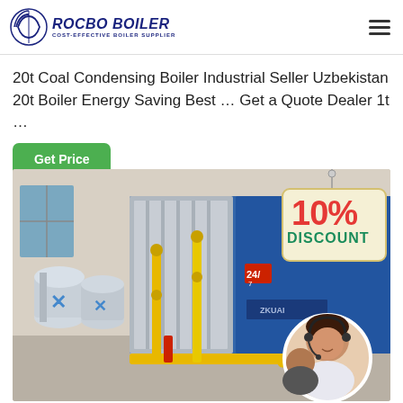[Figure (logo): Rocbo Boiler logo with circular icon and text 'ROCBO BOILER - COST-EFFECTIVE BOILER SUPPLIER']
20t Coal Condensing Boiler Industrial Seller Uzbekistan 20t Boiler Energy Saving Best … Get a Quote Dealer 1t …
Get Price
[Figure (photo): Industrial boiler room with large blue boiler unit, yellow pipes, and a 10% DISCOUNT badge overlay. A customer service representative in a circular inset at bottom right.]